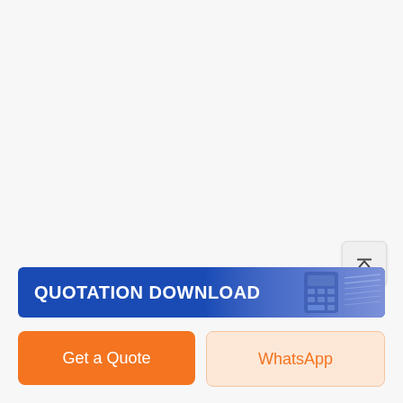[Figure (screenshot): Scroll-to-top button with upward arrow icon, positioned in the right side of the page]
[Figure (screenshot): Quotation Download banner with blue background and calculator image on the right]
Get a Quote
WhatsApp